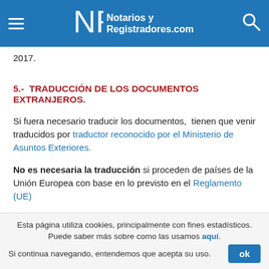Notarios y Registradores.com
2017.
5.-  TRADUCCIÓN DE LOS DOCUMENTOS EXTRANJEROS.
Si fuera necesario traducir los documentos,  tienen que venir traducidos por traductor reconocido por el Ministerio de Asuntos Exteriores.
No es necesaria la traducción si proceden de países de la Unión Europea con base en lo previsto en el Reglamento (UE)
Esta página utiliza cookies, principalmente con fines estadísticos. Puede saber más sobre como las usamos aquí. Si continua navegando, entendemos que acepta su uso.